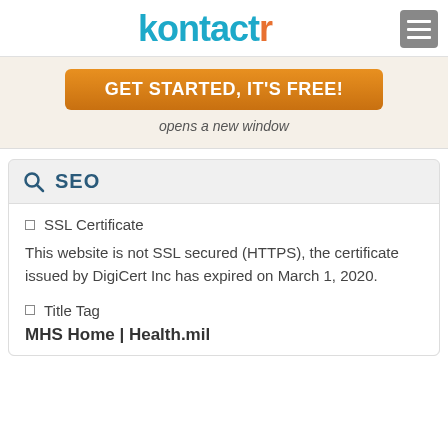kontactr
[Figure (screenshot): Orange 'GET STARTED, IT'S FREE!' call-to-action button with text 'opens a new window' below it on a light beige background]
SEO
□ SSL Certificate
This website is not SSL secured (HTTPS), the certificate issued by DigiCert Inc has expired on March 1, 2020.
□ Title Tag
MHS Home | Health.mil